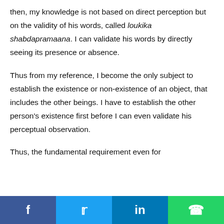then, my knowledge is not based on direct perception but on the validity of his words, called loukika shabdapramaana. I can validate his words by directly seeing its presence or absence.
Thus from my reference, I become the only subject to establish the existence or non-existence of an object, that includes the other beings. I have to establish the other person's existence first before I can even validate his perceptual observation.
Thus, the fundamental requirement even for
f  [Twitter bird]  in  [WhatsApp]